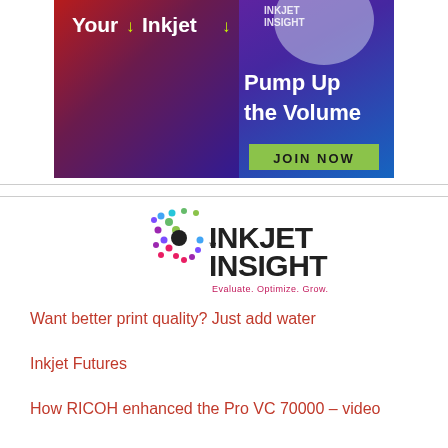[Figure (illustration): Advertisement banner for Inkjet Insight membership showing a woman with headphones against a purple/blue gradient background. Text reads 'Your Inkjet!' at top, 'Pump Up the Volume' in center-right, and a green 'JOIN NOW' button at bottom right.]
[Figure (logo): Inkjet Insight logo with colorful dot spiral pattern on left and bold black text 'INKJET INSIGHT' with tagline 'Evaluate. Optimize. Grow.' in magenta below.]
Want better print quality? Just add water
Inkjet Futures
How RICOH enhanced the Pro VC 70000 – video